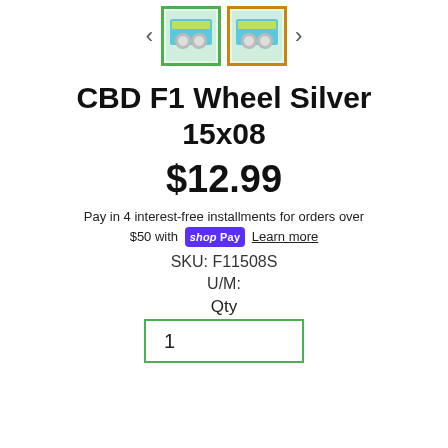[Figure (photo): Two product thumbnail images of CBD F1 Wheel Silver 15x08 packaging, shown in a navigation carousel with left and right arrows. First thumbnail has green border, second has orange/gold border.]
CBD F1 Wheel Silver 15x08
$12.99
Pay in 4 interest-free installments for orders over $50 with shop Pay Learn more
SKU: F11508S
U/M:
Qty
1